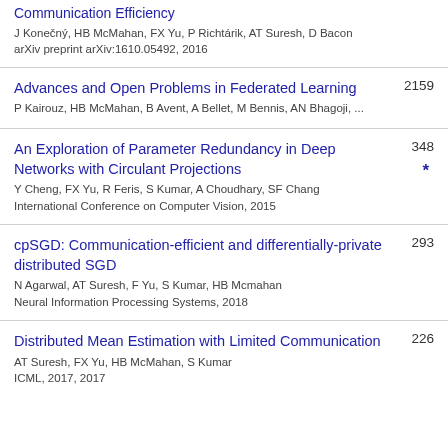Communication Efficiency
J Konečný, HB McMahan, FX Yu, P Richtárik, AT Suresh, D Bacon
arXiv preprint arXiv:1610.05492, 2016
Advances and Open Problems in Federated Learning
P Kairouz, HB McMahan, B Avent, A Bellet, M Bennis, AN Bhagoji, ...
2159
An Exploration of Parameter Redundancy in Deep Networks with Circulant Projections
Y Cheng, FX Yu, R Feris, S Kumar, A Choudhary, SF Chang
International Conference on Computer Vision, 2015
348 *
cpSGD: Communication-efficient and differentially-private distributed SGD
N Agarwal, AT Suresh, F Yu, S Kumar, HB Mcmahan
Neural Information Processing Systems, 2018
293
Distributed Mean Estimation with Limited Communication
AT Suresh, FX Yu, HB McMahan, S Kumar
ICML, 2017, 2017
226